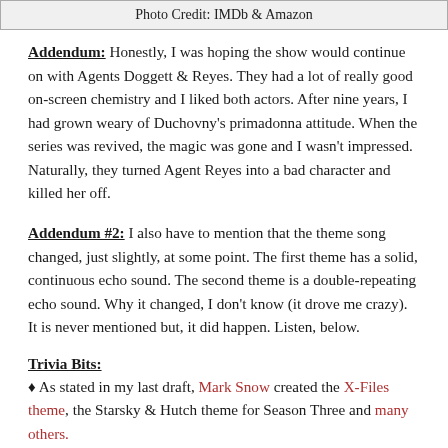Photo Credit: IMDb & Amazon
Addendum: Honestly, I was hoping the show would continue on with Agents Doggett & Reyes. They had a lot of really good on-screen chemistry and I liked both actors. After nine years, I had grown weary of Duchovny's primadonna attitude. When the series was revived, the magic was gone and I wasn't impressed. Naturally, they turned Agent Reyes into a bad character and killed her off.
Addendum #2: I also have to mention that the theme song changed, just slightly, at some point. The first theme has a solid, continuous echo sound. The second theme is a double-repeating echo sound. Why it changed, I don't know (it drove me crazy). It is never mentioned but, it did happen. Listen, below.
Trivia Bits:
As stated in my last draft, Mark Snow created the X-Files theme, the Starsky & Hutch theme for Season Three and many others.
Gillian Anderson was nearly replaced when she got pregnant during the first season.